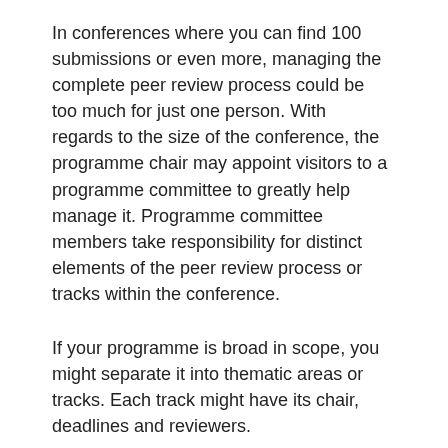In conferences where you can find 100 submissions or even more, managing the complete peer review process could be too much for just one person. With regards to the size of the conference, the programme chair may appoint visitors to a programme committee to greatly help manage it. Programme committee members take responsibility for distinct elements of the peer review process or tracks within the conference.
If your programme is broad in scope, you might separate it into thematic areas or tracks. Each track might have its chair, deadlines and reviewers.
Publicity chair
The publicity chair takes responsibility for promoting the conference to potential authors, delegates and wider media. They're usually in charge of developing media releases and